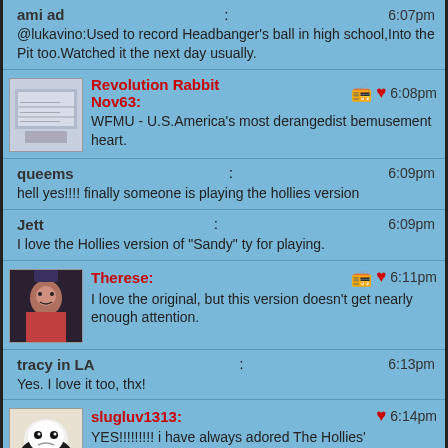ami ad: 6:07pm
@lukavino:Used to record Headbanger's ball in high school,Into the Pit too.Watched it the next day usually.
Revolution Rabbit Nov63: 6:08pm
WFMU - U.S.America's most derangedist bemusement heart.
queems: 6:09pm
hell yes!!!! finally someone is playing the hollies version
Jett: 6:09pm
I love the Hollies version of "Sandy" ty for playing.
Therese: 6:11pm
I love the original, but this version doesn't get nearly enough attention.
tracy in LA: 6:13pm
Yes. I love it too, thx!
slugluv1313: 6:14pm
YES!!!!!!!!! i have always adored The Hollies'